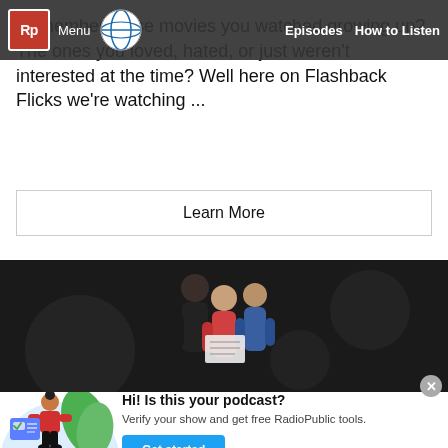Menu | Episodes | How to Listen
Remember those movies you watched growing up? The ones you loved, hated, or just weren't interested at the time? Well here on Flashback Flicks we're watching ...
Learn More
[Figure (illustration): Dark banner with three illustrated people looking at papers/phones together]
[Figure (illustration): Illustration of person with verification card and green plant leaves in a circular background]
Hi! Is this your podcast? Verify your show and get free RadioPublic tools.
Get started